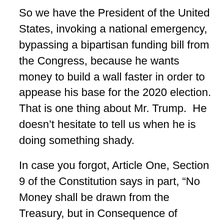So we have the President of the United States, invoking a national emergency, bypassing a bipartisan funding bill from the Congress, because he wants money to build a wall faster in order to appease his base for the 2020 election.  That is one thing about Mr. Trump.  He doesn't hesitate to tell us when he is doing something shady.
In case you forgot, Article One, Section 9 of the Constitution says in part, “No Money shall be drawn from the Treasury, but in Consequence of Appropriations made by Law.”  Article One enumerates the powers vested in Congress.  Section 9 is the “power of the purse” reference that is the strongest element of the power invested in the Congress.  Since the president cannot spend money except for specific purposes, the Congress can exert its power as a co-equal branch of government.  Without that power in Congress, the president and his Cabinet could